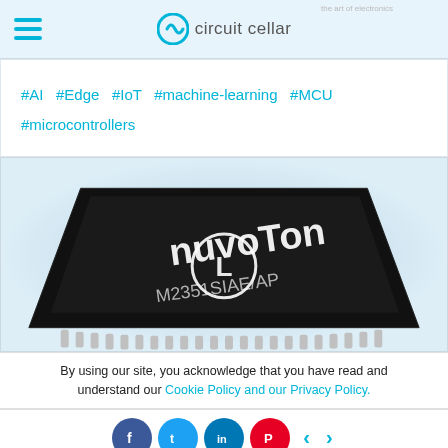circuit cellar
#AI  #Edge  #IoT  #machine-learning  #MCU  #microcontrollers
[Figure (photo): Close-up photo of a Nuvoton M2351SIAAP microcontroller chip (black QFP package with white lead pins), with a circular play button icon overlay]
By using our site, you acknowledge that you have read and understand our Cookie Policy and our Privacy Policy.
Social share buttons: Facebook, Twitter, LinkedIn, Pinterest, navigation arrows